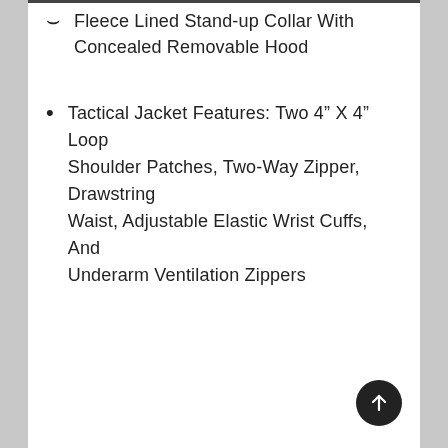Fleece Lined Stand-up Collar With Concealed Removable Hood
Tactical Jacket Features: Two 4” X 4” Loop Shoulder Patches, Two-Way Zipper, Drawstring Waist, Adjustable Elastic Wrist Cuffs, And Underarm Ventilation Zippers